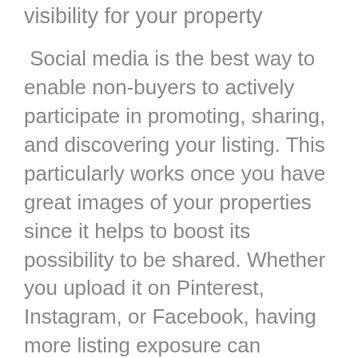visibility for your property
Social media is the best way to enable non-buyers to actively participate in promoting, sharing, and discovering your listing. This particularly works once you have great images of your properties since it helps to boost its possibility to be shared. Whether you upload it on Pinterest, Instagram, or Facebook, having more listing exposure can become just what you must do for you to sell your home.
Communicate with prospective clients to develop an interest
Once a customer displays an interest in your